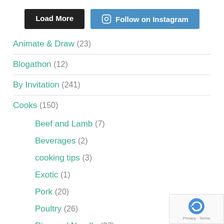[Figure (other): Two buttons: 'Load More' (dark/black) and 'Follow on Instagram' (blue with Instagram icon)]
Animate & Draw (23)
Blogathon (12)
By Invitation (241)
Cooks (150)
Beef and Lamb (7)
Beverages (2)
cooking tips (3)
Exotic (1)
Pork (20)
Poultry (26)
Rice and Noodle (27)
[Figure (other): reCAPTCHA badge with Privacy and Terms links]